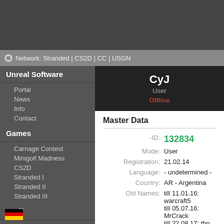Network: Stranded | CS2D | CC | USGN
Unreal Software
Portal
News
Info
Contact
Games
Carnage Contest
Minigolf Madness
CS2D
Stranded I
Stranded II
Stranded III
Stuff
Links
Community
Search / FAQ
Rules
Users
File Archive
Forum
CyJ
User
Offline
Master Data
| Field | Value |
| --- | --- |
| -ID: | 132834 |
| Mode: | User |
| Registration: | 21.02.14 |
| Language: | - undetermined - |
| Country: | AR - Argentina |
| Old Names: | till 11.01.16: warcraft5
till 05.07.16: MrCrack
till 22.08.17: tbn
till 20.01.18: ricky papi
till 21.06.18: saleel al sawar
till 18.11.18: Mujahid
till 19.04.19: JERE LAHORO
till 16.09.19: zyLva okteLon |